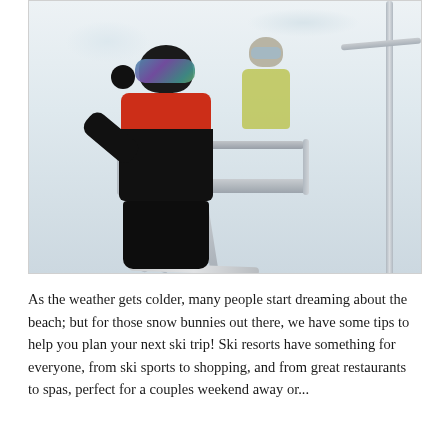[Figure (photo): Two skiers riding a ski lift chair. The front person wears a black helmet with colorful iridescent goggles and a red jacket over black ski pants, arm raised waving. A second person is partially visible behind. Multiple skis hang beneath them. Background is a white snowy slope.]
As the weather gets colder, many people start dreaming about the beach; but for those snow bunnies out there, we have some tips to help you plan your next ski trip! Ski resorts have something for everyone, from ski sports to shopping, and from great restaurants to spas, perfect for a couples weekend away or...